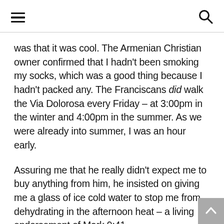[hamburger menu icon] [search icon]
was that it was cool. The Armenian Christian owner confirmed that I hadn't been smoking my socks, which was a good thing because I hadn't packed any. The Franciscans did walk the Via Dolorosa every Friday – at 3:00pm in the winter and 4:00pm in the summer. As we were already into summer, I was an hour early.
Assuring me that he really didn't expect me to buy anything from him, he insisted on giving me a glass of ice cold water to stop me from dehydrating in the afternoon heat – a living endorsement of Mark 9:41 –